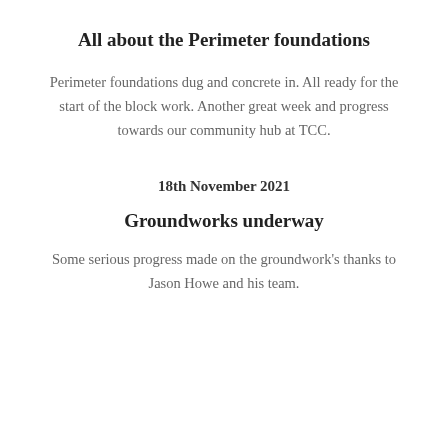All about the Perimeter foundations
Perimeter foundations dug and concrete in. All ready for the start of the block work. Another great week and progress towards our community hub at TCC.
18th November 2021
Groundworks underway
Some serious progress made on the groundwork's thanks to Jason Howe and his team.